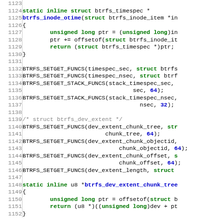[Figure (screenshot): Source code listing showing C code for btrfs filesystem functions, lines 1123-1152, with syntax highlighting: green for keywords/struct, blue for function names and numbers, grey for line numbers and comments.]